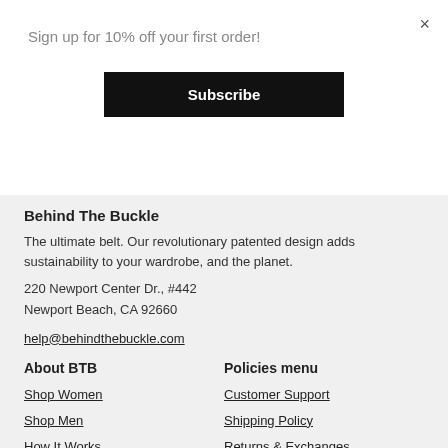Sign up for 10% off your first order!
×
Subscribe
Behind The Buckle
The ultimate belt. Our revolutionary patented design adds sustainability to your wardrobe, and the planet.
220 Newport Center Dr., #442
Newport Beach, CA 92660
help@behindthebuckle.com
About BTB
Policies menu
Shop Women
Shop Men
How It Works
Our Story
FAQs
Customer Support
Shipping Policy
Returns & Exchanges